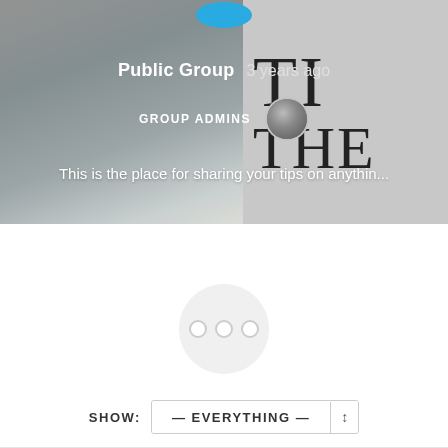[Figure (screenshot): Social media group page screenshot showing a hero banner with a keyboard photo on the left and a book cover on the right, with text overlays indicating 'Public Group', '3 years ago', 'GROUP ADMINS' with avatar, and a description. Below is a white loading area with spinner dots and a 'SHOW: — EVERYTHING —' dropdown.]
Public Group  3 years ago
GROUP ADMINS
This is the place for sharing your tips on anythin...
SHOW:  — EVERYTHING —